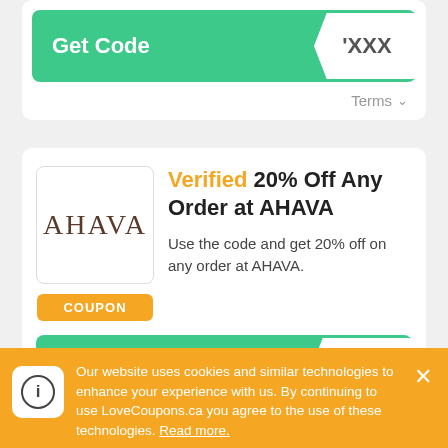[Figure (screenshot): Get Code button bar with teal/green background and partially revealed code tag showing 'XXX']
Terms ∨
[Figure (logo): AHAVA brand logo in serif brown text inside a white rounded square box]
COUPON
Verified 20% Off Any Order at AHAVA
Use the code and get 20% off on any order at AHAVA.
[Figure (screenshot): Get Code button bar with teal/green background and partially revealed code tag showing 'XXX']
Terms ∨
Our website uses cookies and similar technologies to enhance your experience with us. By continuing to use LoveCoupons.ca you agree to the use of these technologies. Read more.